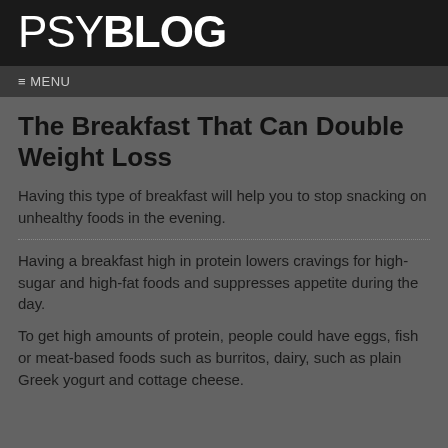PSYBLOG
≡ MENU
The Breakfast That Can Double Weight Loss
Having this type of breakfast will help you to stop snacking on unhealthy foods in the evening.
Having a breakfast high in protein lowers cravings for high-sugar and high-fat foods and suppresses appetite during the day.
To get high amounts of protein, people could have eggs, fish or meat-based foods such as burritos, dairy, such as plain Greek yogurt and cottage cheese.